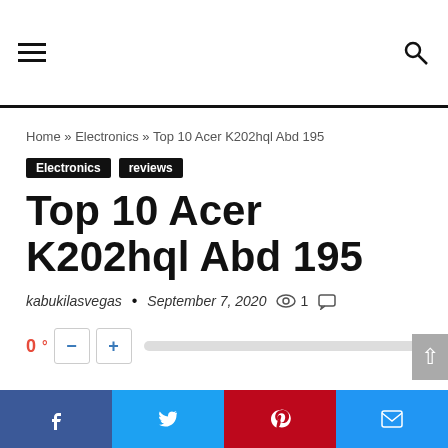Navigation header with hamburger menu and search icon
Home » Electronics » Top 10 Acer K202hql Abd 195
Electronics   reviews
Top 10 Acer K202hql Abd 195
kabukilasvegas • September 7, 2020 👁 1 💬
0 ° — + [progress bar]
Facebook Twitter Pinterest Email social share buttons